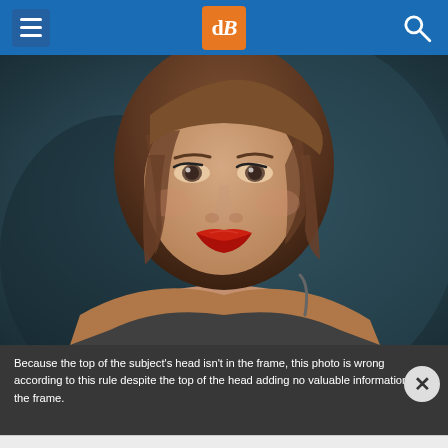dPS (Digital Photography School) - navigation header with menu, logo, and search
[Figure (photo): Close-up portrait of a young woman with brown bob-cut hair, bold red lips, subtle makeup, wearing a dark top with visible shoulder strap, photographed against a dark teal/grey blurred background. The top of her head is cropped out of the frame.]
Because the top of the subject’s head isn’t in the frame, this photo is wrong according to this rule despite the top of the head adding no valuable information to the frame.